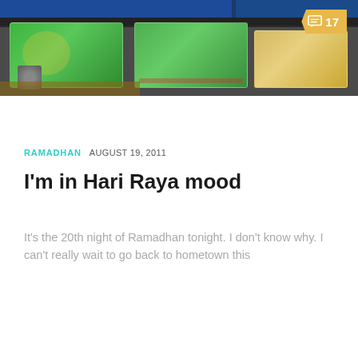[Figure (photo): Photo of wrapped gift packages on a desk. Three packages in plastic wrapping: two green packages on left and center, one yellow/beige package on right. Blue monitor screens visible in background. A comment badge showing '17' appears in top-right corner.]
RAMADHAN  AUGUST 19, 2011
I'm in Hari Raya mood
It's the 20th night of Ramadhan tonight. I don't know why. I can't really wait to go back to hometown this